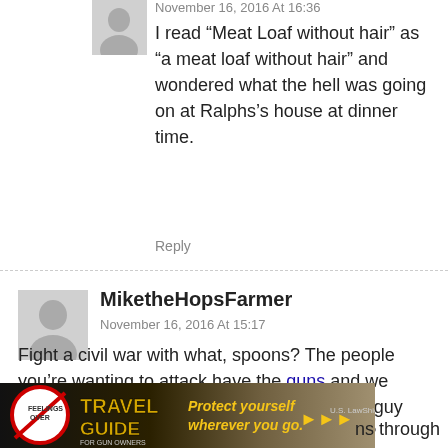November 16, 2016 At 16:36
I read “Meat Loaf without hair” as “a meat loaf without hair” and wondered what the hell was going on at Ralphs’s house at dinner time.
Reply
MiketheHopsFarmer
November 16, 2016 At 15:17
Fight a civil war with what, spoons? The people you’re wanting to attack have the guns and we practice with them because they’re fun! This guy didn’t think his plan through very well did he?
Reply
uncommon_sense
[Figure (infographic): Travel Guide for Gun Owners advertisement banner with text: Protect yourself wherever you go.]
ns through